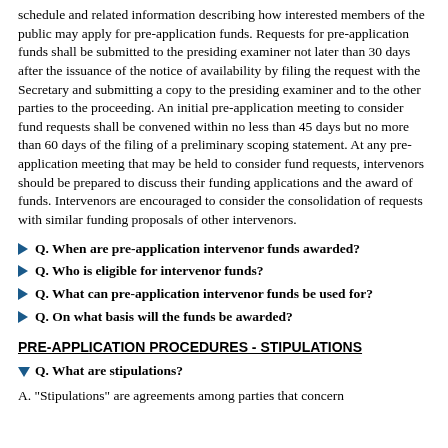schedule and related information describing how interested members of the public may apply for pre-application funds. Requests for pre-application funds shall be submitted to the presiding examiner not later than 30 days after the issuance of the notice of availability by filing the request with the Secretary and submitting a copy to the presiding examiner and to the other parties to the proceeding. An initial pre-application meeting to consider fund requests shall be convened within no less than 45 days but no more than 60 days of the filing of a preliminary scoping statement. At any pre-application meeting that may be held to consider fund requests, intervenors should be prepared to discuss their funding applications and the award of funds. Intervenors are encouraged to consider the consolidation of requests with similar funding proposals of other intervenors.
Q. When are pre-application intervenor funds awarded?
Q. Who is eligible for intervenor funds?
Q. What can pre-application intervenor funds be used for?
Q. On what basis will the funds be awarded?
PRE-APPLICATION PROCEDURES - STIPULATIONS
Q. What are stipulations?
A. "Stipulations" are agreements among parties that concern